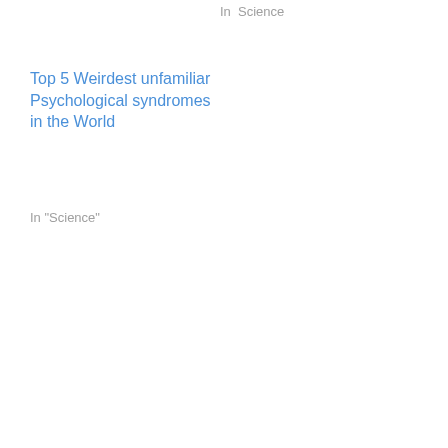In  Science
Top 5 Weirdest unfamiliar Psychological syndromes in the World
In "Science"